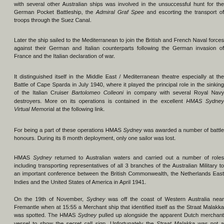with several other Australian ships was involved in the unsuccessful hunt for the German Pocket Battleship, the Admiral Graf Spee and escorting the transport of troops through the Suez Canal.
Later the ship sailed to the Mediterranean to join the British and French Naval forces against their German and Italian counterparts following the German invasion of France and the Italian declaration of war.
It distinguished itself in the Middle East / Mediterranean theatre especially at the Battle of Cape Sparda in July 1940, where it played the principal role in the sinking of the Italian Cruiser Bartolomeo Colleoni in company with several Royal Navy destroyers. More on its operations is contained in the excellent HMAS Sydney Virtual Memorial at the following link.
For being a part of these operations HMAS Sydney was awarded a number of battle honours. During its 8 month deployment, only one sailor was lost.
HMAS Sydney returned to Australian waters and carried out a number of roles including transporting representatives of all 3 branches of the Australian Military to an important conference between the British Commonwealth, the Netherlands East Indies and the United States of America in April 1941.
On the 19th of November, Sydney was off the coast of Western Australia near Fremantle when at 15:55 a Merchant ship that identified itself as the Straat Malakka was spotted. The HMAS Sydney pulled up alongside the apparent Dutch merchant vessel to show the secret call sign. Unfortunately the Straat Malakka was not a merchant ship.